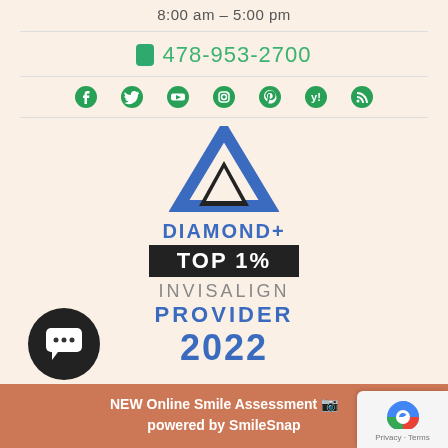8:00 am – 5:00 pm
478-953-2700
[Figure (infographic): Social media icons row: Facebook, Twitter, YouTube, Instagram, Pinterest, Yelp, RSS — all in green]
[Figure (logo): Invisalign Diamond+ Top 1% Provider 2022 badge with triangle logo in blue and dark]
[Figure (infographic): Dark circular chat bubble icon with three dots]
NEW Online Smile Assessment powered by SmileSnap